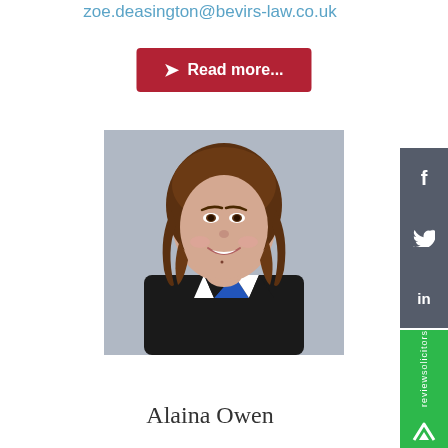zoe.deasington@bevirs-law.co.uk
Read more...
[Figure (photo): Professional headshot of Alaina Owen, a woman with shoulder-length brown wavy hair, smiling, wearing a black jacket and blue/white patterned top, against a grey background.]
Alaina Owen